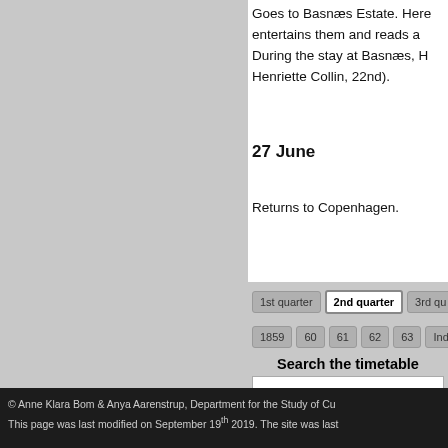Goes to Basnæs Estate. Here entertains them and reads a. During the stay at Basnæs, H Henriette Collin, 22nd).
27 June
Returns to Copenhagen.
1st quarter
2nd quarter
3rd qu
1859
60
61
62
63
Index
Search the timetable
© Anne Klara Bom & Anya Aarenstrup, Department for the Study of Cu This page was last modified on September 19th 2019. The site was last